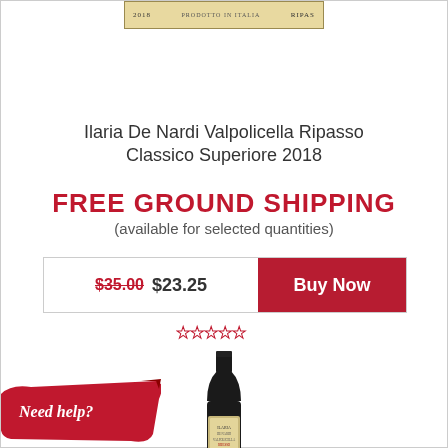[Figure (illustration): Wine label strip at top showing 2018, PRODOTTO IN ITALIA, RIPASO text on a beige/gold background]
Ilaria De Nardi Valpolicella Ripasso Classico Superiore 2018
FREE GROUND SHIPPING (available for selected quantities)
$35.00 $23.25 Buy Now
★★★★★ (star rating)
[Figure (photo): Wine bottle of Ilaria De Nardi Valpolicella Ripasso Classico Superiore 2018, dark bottle with label]
[Figure (illustration): Red painted/brushstroke banner with text 'Need help?']